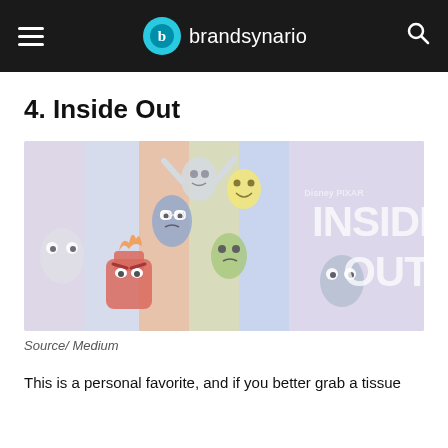brandsynario
4. Inside Out
[Figure (illustration): Inside Out movie poster showing animated emotion characters (Fear, Sadness, Joy, Disgust, Anger) against a colorful striped background with the Disney Pixar 'Inside Out' title text on the right side.]
Source/ Medium
This is a personal favorite, and if you better grab a tissue